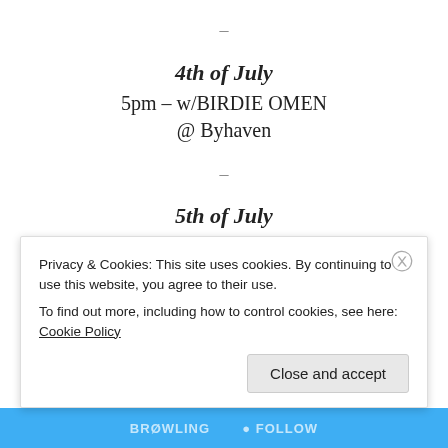–
4th of July
5pm – w/BIRDIE OMEN
@ Byhaven
–
5th of July
3pm – FERM / NILSSON / AC
@ Gården og Gaden
Privacy & Cookies: This site uses cookies. By continuing to use this website, you agree to their use.
To find out more, including how to control cookies, see here: Cookie Policy
Close and accept